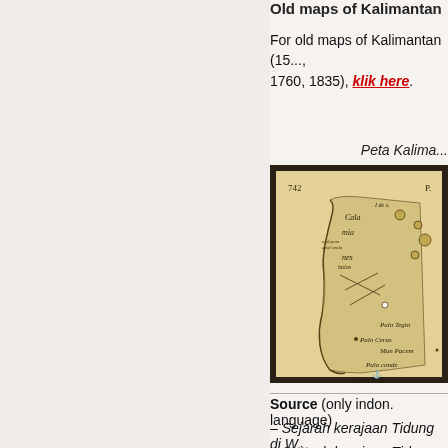Old maps of Kalimantan
For old maps of Kalimantan (15..., 1760, 1835), klik here.
Peta Kalima...
[Figure (map): Old map of Kalimantan (Borneo), showing coastal features labeled in Latin/Dutch including Cala, mia, nes, Pulo Tegio, Pulo Ceras, Mun Pacem, Pulo conde, Pulo baibe. Page number 742 visible. Antique brown/sepia toned.]
Source (only indon. language)
– Sejarah kerajaan Tidung di W...
– Sejarah kerajaan Tidung: http...